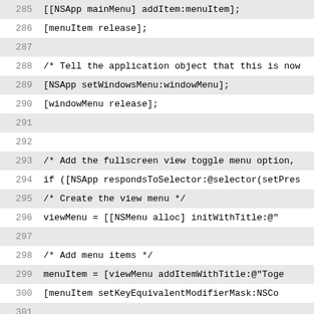Code listing lines 285-316: Objective-C source code for NSApp menu setup and Cocoa_RegisterApp function
285    [[NSApp mainMenu] addItem:menuItem];
286    [menuItem release];
287
288    /* Tell the application object that this is now
289    [NSApp setWindowsMenu:windowMenu];
290    [windowMenu release];
291
292
293    /* Add the fullscreen view toggle menu option,
294    if ([NSApp respondsToSelector:@selector(setPres
295        /* Create the view menu */
296        viewMenu = [[NSMenu alloc] initWithTitle:@"
297
298        /* Add menu items */
299        menuItem = [viewMenu addItemWithTitle:@"Toge
300        [menuItem setKeyEquivalentModifierMask:NSCo
301
302        /* Put menu into the menubar */
303        menuItem = [[NSMenuItem alloc] initWithTitle
304        [menuItem setSubmenu:viewMenu];
305        [[NSApp mainMenu] addItem:menuItem];
306        [menuItem release];
307
308        [viewMenu release];
309    }
310 }
311
312 void
313 Cocoa_RegisterApp(void)
314 { @autoreleasepool
315 {
316    /* This can get called more than once! Be caref